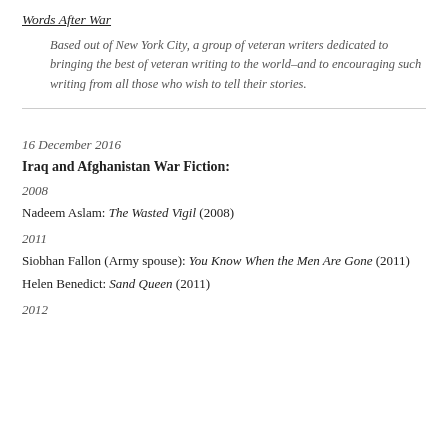Words After War
Based out of New York City, a group of veteran writers dedicated to bringing the best of veteran writing to the world–and to encouraging such writing from all those who wish to tell their stories.
16 December 2016
Iraq and Afghanistan War Fiction:
2008
Nadeem Aslam: The Wasted Vigil (2008)
2011
Siobhan Fallon (Army spouse): You Know When the Men Are Gone (2011)
Helen Benedict: Sand Queen (2011)
2012